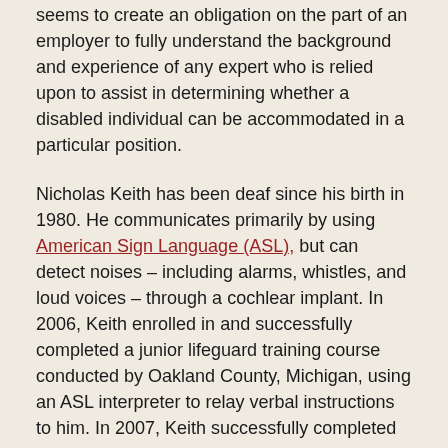seems to create an obligation on the part of an employer to fully understand the background and experience of any expert who is relied upon to assist in determining whether a disabled individual can be accommodated in a particular position.
Nicholas Keith has been deaf since his birth in 1980. He communicates primarily by using American Sign Language (ASL), but can detect noises – including alarms, whistles, and loud voices – through a cochlear implant. In 2006, Keith enrolled in and successfully completed a junior lifeguard training course conducted by Oakland County, Michigan, using an ASL interpreter to relay verbal instructions to him. In 2007, Keith successfully completed the County's lifeguard training course, again with the assistance of an interpreter, although Keith executed all lifesaving tasks and training techniques himself.
Upon successful completion of the trainings, Keith applied